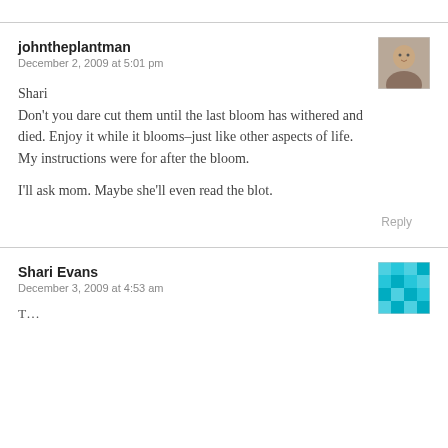johntheplantman
December 2, 2009 at 5:01 pm
Shari
Don't you dare cut them until the last bloom has withered and died. Enjoy it while it blooms–just like other aspects of life. My instructions were for after the bloom.

I'll ask mom. Maybe she'll even read the blot.
Reply
Shari Evans
December 3, 2009 at 4:53 am